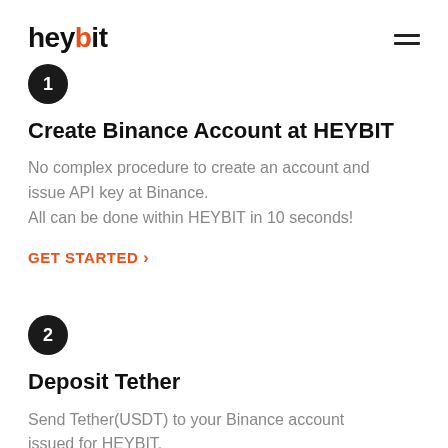heybit
[Figure (logo): Heybit logo in bold black text with orange dot on the 'i', and hamburger menu icon top right]
1
Create Binance Account at HEYBIT
No complex procedure to create an account and issue API key at Binance. All can be done within HEYBIT in 10 seconds!
GET STARTED >
2
Deposit Tether
Send Tether(USDT) to your Binance account issued for HEYBIT.